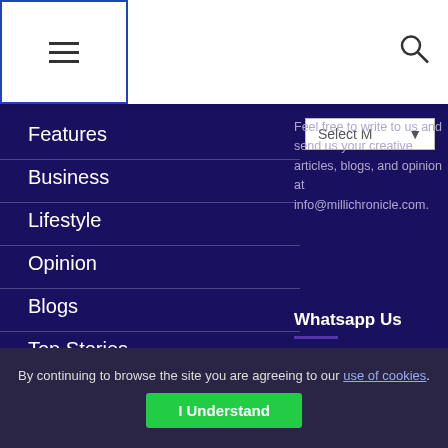Navigation header with menu and search
Features
Business
Lifestyle
Opinion
Blogs
Top Stories
Webinars
About Us
Feel free to write to us and send us your creative articles, blogs, and opinion at info@millichronicle.com.
Whatsapp Us
+442045423437
[Figure (infographic): Social media icons: Facebook (f) and Twitter bird]
By continuing to browse the site you are agreeing to our use of cookies.
I Understand